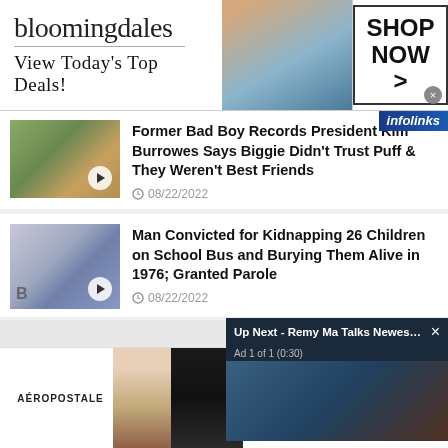[Figure (screenshot): Bloomingdales advertisement banner: logo, 'View Today's Top Deals!', model photo, SHOP NOW button]
[Figure (screenshot): Partial article thumbnail with play button - Former Bad Boy Records President Kim Burrowes]
Former Bad Boy Records President Kim Burrowes Says Biggie Didn't Trust Puff & They Weren't Best Friends
08/22/2022
[Figure (screenshot): Article thumbnail with play button - Man convicted kidnapping school bus story]
Man Convicted for Kidnapping 26 Children on School Bus and Burying Them Alive in 1976; Granted Parole
08/22/2022
[Figure (screenshot): Video overlay: Up Next - Remy Ma Talks Newest Seaso... Ad 1 of 1 (0:30)]
Heartbrea...
[Figure (screenshot): Aeropostale advertisement: AÉROPOSTALE, two models, 50-70% off Everything!, BUY NOW button]